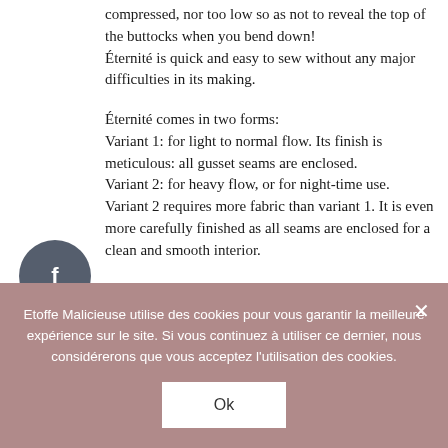compressed, nor too low so as not to reveal the top of the buttocks when you bend down! Éternité is quick and easy to sew without any major difficulties in its making.
Éternité comes in two forms: Variant 1: for light to normal flow. Its finish is meticulous: all gusset seams are enclosed. Variant 2: for heavy flow, or for night-time use. Variant 2 requires more fabric than variant 1. It is even more carefully finished as all seams are enclosed for a clean and smooth interior.
This pattern is also a potty training panty for the little ones.
Etoffe Malicieuse utilise des cookies pour vous garantir la meilleure expérience sur le site. Si vous continuez à utiliser ce dernier, nous considérerons que vous acceptez l'utilisation des cookies.
Ok